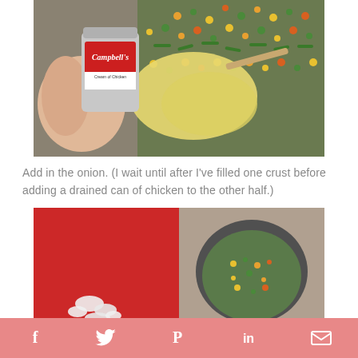[Figure (photo): Hand holding a Campbell's Cream of Chicken soup can being poured over frozen mixed vegetables (peas, carrots, corn, green beans) in what appears to be a slow cooker or pan, with creamy soup visible]
Add in the onion. (I wait until after I've filled one crust before adding a drained can of chicken to the other half.)
[Figure (photo): Two-panel photo: left panel shows diced/chopped white onion on a red cutting board, right panel shows a pot or pan with mixed vegetables being cooked]
f  Twitter bird  Pinterest P  in  email envelope